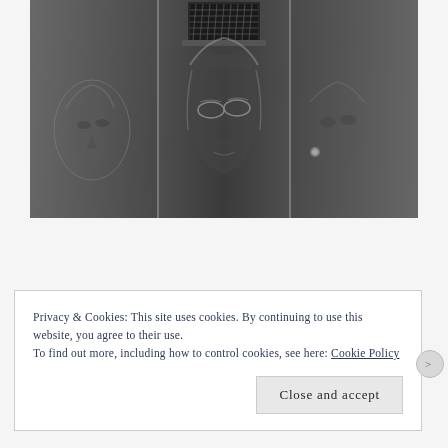[Figure (photo): Black and white photograph of an elevator door with artistic engravings or etchings of multiple face portraits — appears to show a famous figure (resembling John Lennon) reflected multiple times across the metallic elevator panels. A ventilation grill is visible at the top center, and a small door handle is on the right panel.]
Privacy & Cookies: This site uses cookies. By continuing to use this website, you agree to their use.
To find out more, including how to control cookies, see here: Cookie Policy
Close and accept